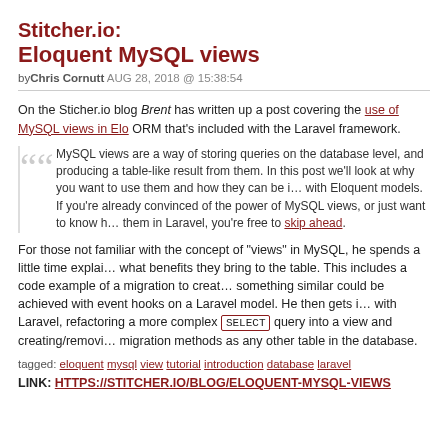Stitcher.io: Eloquent MySQL views
byChris Cornutt AUG 28, 2018 @ 15:38:54
On the Sticher.io blog Brent has written up a post covering the use of MySQL views in Eloquent, the ORM that's included with the Laravel framework.
MySQL views are a way of storing queries on the database level, and producing a table-like result from them. In this post we'll look at why you want to use them and how they can be integrated with Eloquent models.
If you're already convinced of the power of MySQL views, or just want to know how to implement them in Laravel, you're free to skip ahead.
For those not familiar with the concept of "views" in MySQL, he spends a little time explaining what they are and what benefits they bring to the table. This includes a code example of a migration to create a view and how something similar could be achieved with event hooks on a Laravel model. He then gets into using the views with Laravel, refactoring a more complex SELECT query into a view and creating/removing views using the same migration methods as any other table in the database.
tagged: eloquent mysql view tutorial introduction database laravel
LINK: HTTPS://STITCHER.IO/BLOG/ELOQUENT-MYSQL-VIEWS